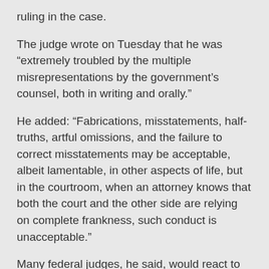ruling in the case.
The judge wrote on Tuesday that he was “extremely troubled by the multiple misrepresentations by the government’s counsel, both in writing and orally.”
He added: “Fabrications, misstatements, half-truths, artful omissions, and the failure to correct misstatements may be acceptable, albeit lamentable, in other aspects of life, but in the courtroom, when an attorney knows that both the court and the other side are relying on complete frankness, such conduct is unacceptable.”
Many federal judges, he said, would react to such “misconduct” by considering striking all of the filings that the lawyers on that side had submitted to the court — a move that would shut down the case